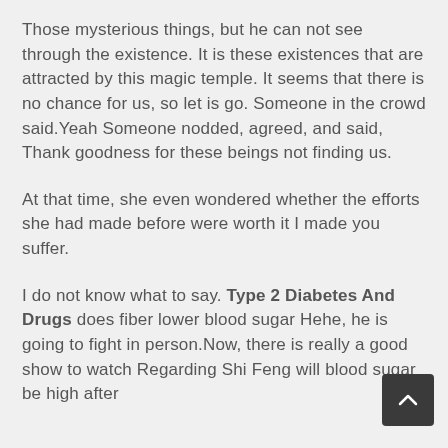Those mysterious things, but he can not see through the existence. It is these existences that are attracted by this magic temple. It seems that there is no chance for us, so let is go. Someone in the crowd said.Yeah Someone nodded, agreed, and said, Thank goodness for these beings not finding us.
At that time, she even wondered whether the efforts she had made before were worth it I made you suffer.
I do not know what to say. Type 2 Diabetes And Drugs does fiber lower blood sugar Hehe, he is going to fight in person.Now, there is really a good show to watch Regarding Shi Feng will blood sugar be high after eating Antec Diabetes Medi...